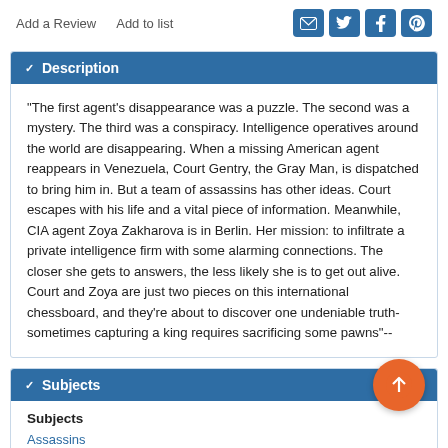Add a Review   Add to list
Description
"The first agent's disappearance was a puzzle. The second was a mystery. The third was a conspiracy. Intelligence operatives around the world are disappearing. When a missing American agent reappears in Venezuela, Court Gentry, the Gray Man, is dispatched to bring him in. But a team of assassins has other ideas. Court escapes with his life and a vital piece of information. Meanwhile, CIA agent Zoya Zakharova is in Berlin. Her mission: to infiltrate a private intelligence firm with some alarming connections. The closer she gets to answers, the less likely she is to get out alive. Court and Zoya are just two pieces on this international chessboard, and they're about to discover one undeniable truth-sometimes capturing a king requires sacrificing some pawns"--
Subjects
Subjects
Assassins
Assassins -- Fiction
Bestseller, 2019 -- Fiction